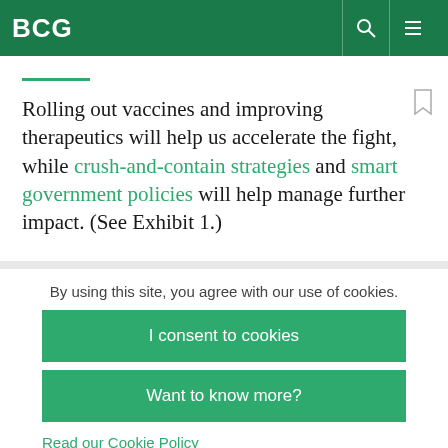BCG
Rolling out vaccines and improving therapeutics will help us accelerate the fight, while crush-and-contain strategies and smart government policies will help manage further impact. (See Exhibit 1.)
By using this site, you agree with our use of cookies.
I consent to cookies
Want to know more?
Read our Cookie Policy